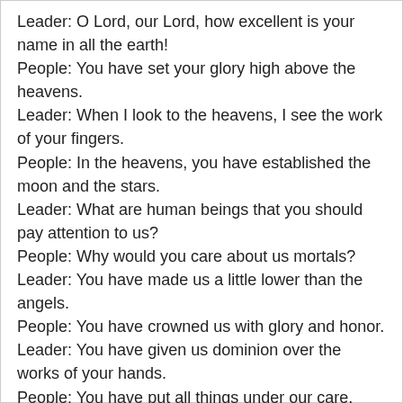Leader: O Lord, our Lord, how excellent is your name in all the earth!
People: You have set your glory high above the heavens.
Leader: When I look to the heavens, I see the work of your fingers.
People: In the heavens, you have established the moon and the stars.
Leader: What are human beings that you should pay attention to us?
People: Why would you care about us mortals?
Leader: You have made us a little lower than the angels.
People: You have crowned us with glory and honor.
Leader: You have given us dominion over the works of your hands.
People: You have put all things under our care,
Leader: All sheep and oxen…
People: The beasts of the field…
Leader: The birds of the air…
People: The fish of the sea.
Leader: All these things you have put under our care.
People: O Lord, our Lord, how excellent is your name in all the